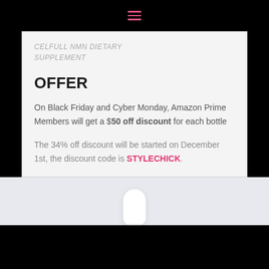☰ (hamburger menu icon)
CELFULL NMN DIETARY SUPPLEMENT
OFFER
On Black Friday and Cyber Monday, Amazon Prime Members will get a $50 off discount for each bottle
The 34% off discount will be started on December 1st, the discount code is STYLECHICK.
[Figure (photo): White pill/capsule bottle partially visible at the bottom of the page against a light lavender-grey background]